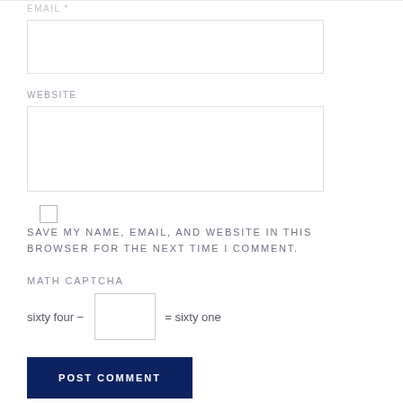EMAIL *
WEBSITE
SAVE MY NAME, EMAIL, AND WEBSITE IN THIS BROWSER FOR THE NEXT TIME I COMMENT.
MATH CAPTCHA
sixty four − = sixty one
POST COMMENT